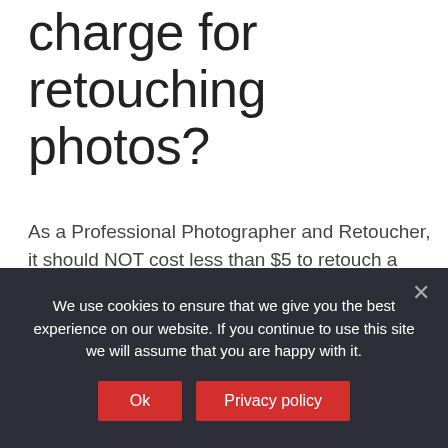charge for retouching photos?
As a Professional Photographer and Retoucher, it should NOT cost less than $5 to retouch a photo unless you are doing very high volume minimal retouching. It takes about 3 minutes to retouch most photographs on the basic side, longer with more advance processes.
How do I start my
We use cookies to ensure that we give you the best experience on our website. If you continue to use this site we will assume that you are happy with it.